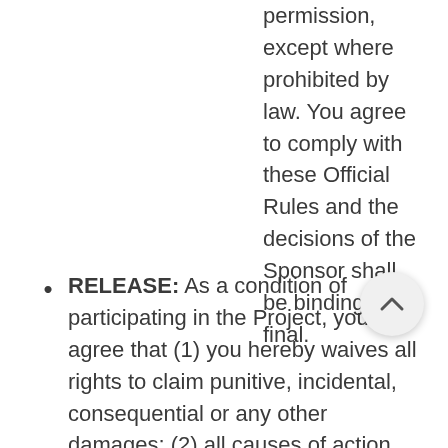permission, except where prohibited by law. You agree to comply with these Official Rules and the decisions of the Sponsor shall be binding and final.
RELEASE: As a condition of participating in the Project, you agree that (1) you hereby waives all rights to claim punitive, incidental, consequential or any other damages; (2) all causes of action arising out of or connected with this Project, or prizes awarded, shall be resolved individually, without resort to any form class action; and (3) in no event will you be entitled to receive attorneys' fees. BY PARTICIPATING IN THE PROJECT, YOU AGREE TO RELEASE, DISCHARGE AND HOLD